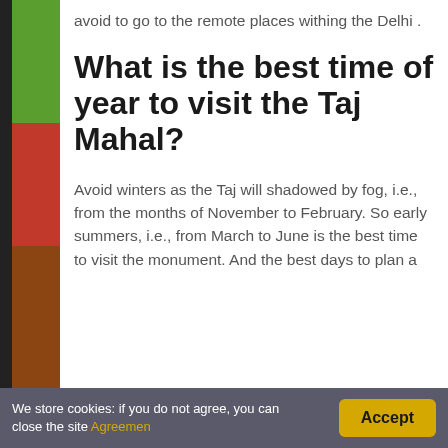avoid to go to the remote places withing the Delhi .
What is the best time of year to visit the Taj Mahal?
Avoid winters as the Taj will shadowed by fog, i.e., from the months of November to February. So early summers, i.e., from March to June is the best time to visit the monument. And the best days to plan a…
We store cookies: if you do not agree, you can close the site Agreemen    Accept